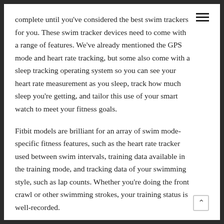complete until you've considered the best swim trackers for you. These swim tracker devices need to come with a range of features. We've already mentioned the GPS mode and heart rate tracking, but some also come with a sleep tracking operating system so you can see your heart rate measurement as you sleep, track how much sleep you're getting, and tailor this use of your smart watch to meet your fitness goals.
Fitbit models are brilliant for an array of swim mode-specific fitness features, such as the heart rate tracker used between swim intervals, training data available in the training mode, and tracking data of your swimming style, such as lap counts. Whether you're doing the front crawl or other swimming strokes, your training status is well-recorded.
Fitbit models are therefore really good for high performance swimming with all laps possible – their swim